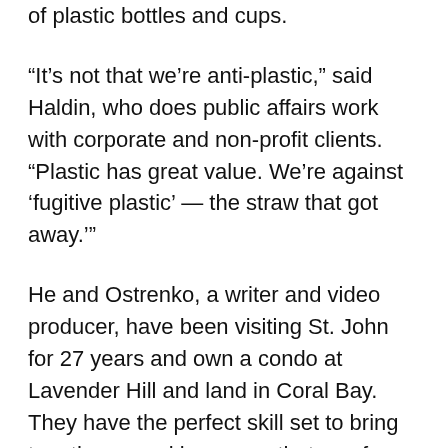of plastic bottles and cups.
“It’s not that we’re anti-plastic,” said Haldin, who does public affairs work with corporate and non-profit clients. “Plastic has great value. We’re against ‘fugitive plastic’ — the straw that got away.’”
He and Ostrenko, a writer and video producer, have been visiting St. John for 27 years and own a condo at Lavender Hill and land in Coral Bay. They have the perfect skill set to bring together a working group that can focus on the enormous task ahead of them.
The first task at hand is eliminating the use of plastic straws that wash back up on the beaches. Paper straws are now available, thanks to an increase in demand.
“It’s about packaging, not products,” said Haldin. “We don’t